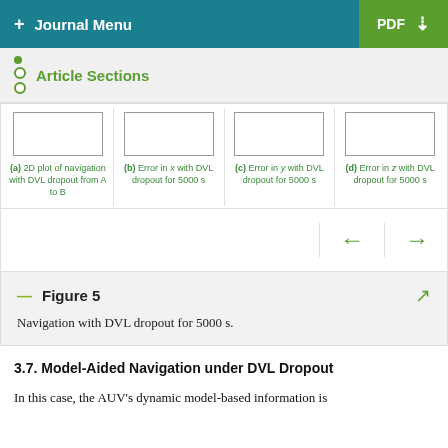+ Journal Menu  PDF ↓
Article Sections
[Figure (other): Four subfigure placeholders showing: (a) 2D plot of navigation with DVL dropout from A to B, (b) Error in x with DVL dropout for 5000 s, (c) Error in y with DVL dropout for 5000 s, (d) Error in z with DVL dropout for 5000 s]
Figure 5
Navigation with DVL dropout for 5000 s.
3.7. Model-Aided Navigation under DVL Dropout
In this case, the AUV's dynamic model-based information is